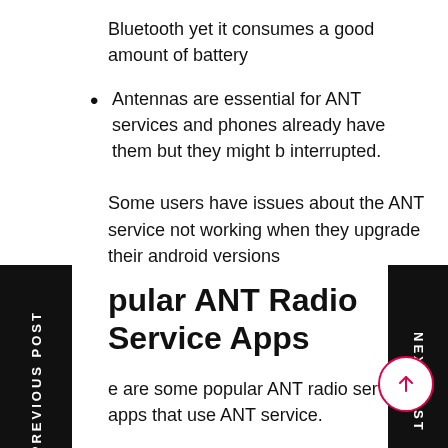Bluetooth yet it consumes a good amount of battery
Antennas are essential for ANT services and phones already have them but they might b interrupted.
Some users have issues about the ANT service not working when they upgrade their android versions
Popular ANT Radio Service Apps
Here are some popular ANT radio service apps that use ANT service.
Garmin Fit
Run GPS Trainer UV
Self-loops